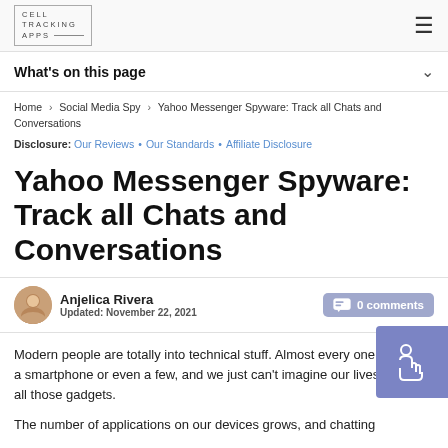CELL TRACKING APPS
What's on this page
Home › Social Media Spy › Yahoo Messenger Spyware: Track all Chats and Conversations
Disclosure: Our Reviews • Our Standards • Affiliate Disclosure
Yahoo Messenger Spyware: Track all Chats and Conversations
Anjelica Rivera
Updated: November 22, 2021
0 comments
Modern people are totally into technical stuff. Almost every one of us has a smartphone or even a few, and we just can't imagine our lives without all those gadgets.
The number of applications on our devices grows, and chatting